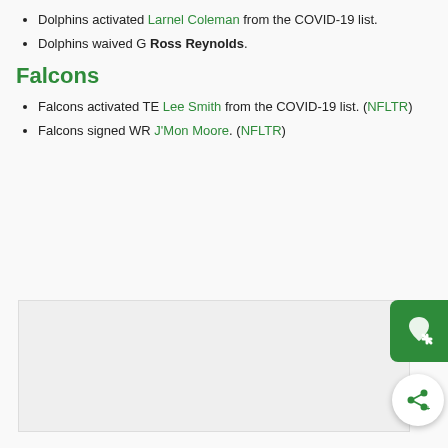Dolphins activated Larnel Coleman from the COVID-19 list.
Dolphins waived G Ross Reynolds.
Falcons
Falcons activated TE Lee Smith from the COVID-19 list. (NFLTR)
Falcons signed WR J'Mon Moore. (NFLTR)
[Figure (other): Advertisement placeholder box (gray rectangle)]
[Figure (other): Green save/favorite button (heart icon with pencil) and white share button (share icon with plus)]